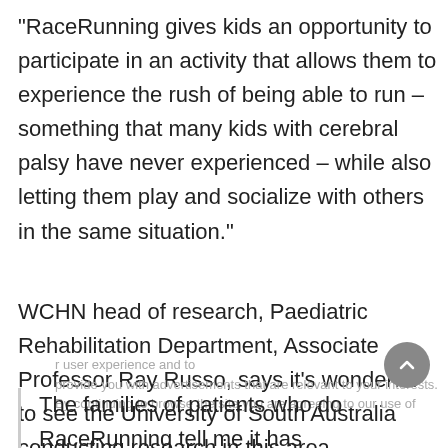“RaceRunning gives kids an opportunity to participate in an activity that allows them to experience the rush of being able to run – something that many kids with cerebral palsy have never experienced – while also letting them play and socialize with others in the same situation.”
WCHN head of research, Paediatric Rehabilitation Department, Associate Professor Ray Russo, says it’s wonderful to see the University of South Australia conducting research in this area.
The families of patients who do RaceRunning tell me it has helped their children with